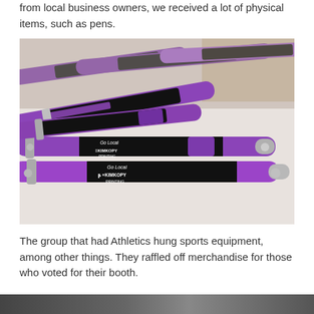from local business owners, we received a lot of physical items, such as pens.
[Figure (photo): Close-up photo of multiple purple and black ballpoint pens branded with 'Go Local' and 'KimKopy Printing' logos, scattered on a white surface]
The group that had Athletics hung sports equipment, among other things. They raffled off merchandise for those who voted for their booth.